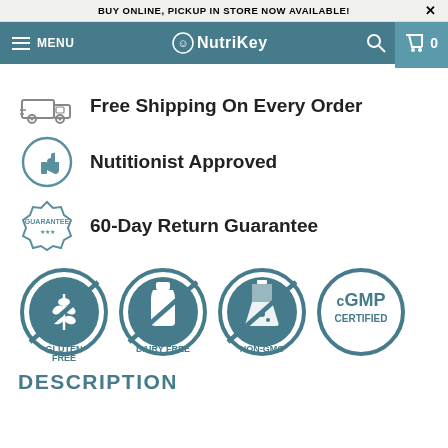BUY ONLINE, PICKUP IN STORE NOW AVAILABLE!
[Figure (screenshot): NutriKey website navigation bar with hamburger menu, NutriKey logo, search icon, and cart icon showing 0 items]
Free Shipping On Every Order
Nutitionist Approved
60-Day Return Guarantee
[Figure (infographic): Four certification badges: Gluten Free, Dairy Free, Non-GMO, cGMP Certified]
DESCRIPTION